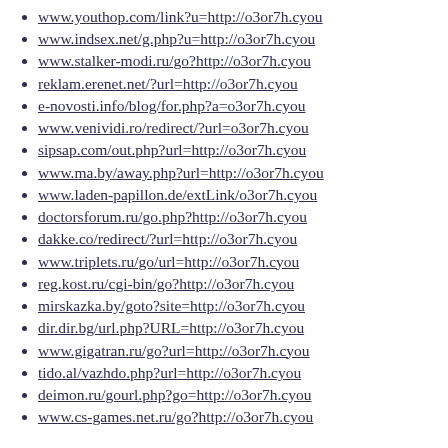www.youthop.com/link?u=http://o3or7h.cyou
www.indsex.net/g.php?u=http://o3or7h.cyou
www.stalker-modi.ru/go?http://o3or7h.cyou
reklam.erenet.net/?url=http://o3or7h.cyou
e-novosti.info/blog/for.php?a=o3or7h.cyou
www.venividi.ro/redirect/?url=o3or7h.cyou
sipsap.com/out.php?url=http://o3or7h.cyou
www.ma.by/away.php?url=http://o3or7h.cyou
www.laden-papillon.de/extLink/o3or7h.cyou
doctorsforum.ru/go.php?http://o3or7h.cyou
dakke.co/redirect/?url=http://o3or7h.cyou
www.triplets.ru/go/url=http://o3or7h.cyou
reg.kost.ru/cgi-bin/go?http://o3or7h.cyou
mirskazka.by/goto?site=http://o3or7h.cyou
dir.dir.bg/url.php?URL=http://o3or7h.cyou
www.gigatran.ru/go?url=http://o3or7h.cyou
tido.al/vazhdo.php?url=http://o3or7h.cyou
deimon.ru/gourl.php?go=http://o3or7h.cyou
www.cs-games.net.ru/go?http://o3or7h.cyou